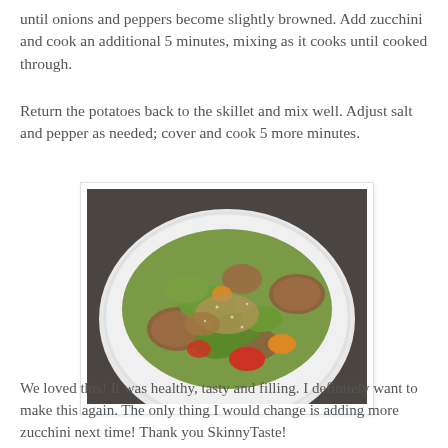until onions and peppers become slightly browned. Add zucchini and cook an additional 5 minutes, mixing as it cooks until cooked through.
Return the potatoes back to the skillet and mix well. Adjust salt and pepper as needed; cover and cook 5 more minutes.
[Figure (photo): A white plate filled with a cooked vegetable and potato medley including zucchini, red potatoes, red and orange bell peppers, and other mixed vegetables, photographed on a dark countertop.]
We loved this! It was healthy, tasty and filling. I definitely want to make this again. The only thing I would change is adding more zucchini next time! Thank you SkinnyTaste!